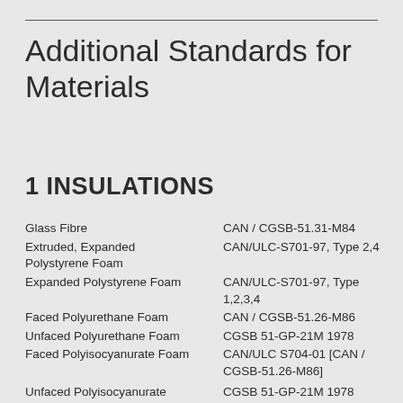Additional Standards for Materials
1  INSULATIONS
| Material | Standard |
| --- | --- |
| Glass Fibre | CAN / CGSB-51.31-M84 |
| Extruded, Expanded Polystyrene Foam | CAN/ULC-S701-97, Type 2,4 |
| Expanded Polystyrene Foam | CAN/ULC-S701-97, Type 1,2,3,4 |
| Faced Polyurethane Foam | CAN / CGSB-51.26-M86 |
| Unfaced Polyurethane Foam | CGSB 51-GP-21M 1978 |
| Faced Polyisocyanurate Foam | CAN/ULC S704-01 [CAN / CGSB-51.26-M86] |
| Unfaced Polyisocyanurate Foam | CGSB 51-GP-21M 1978 |
| Fibreboard | CAN / ULC - S706-02 |
| Cellular Glass | CGSB 51-GP-38M 1976 |